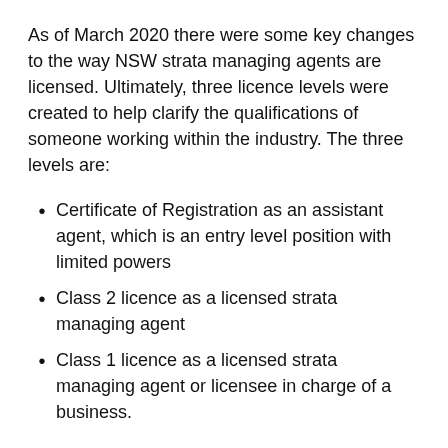As of March 2020 there were some key changes to the way NSW strata managing agents are licensed. Ultimately, three licence levels were created to help clarify the qualifications of someone working within the industry. The three levels are:
Certificate of Registration as an assistant agent, which is an entry level position with limited powers
Class 2 licence as a licensed strata managing agent
Class 1 licence as a licensed strata managing agent or licensee in charge of a business.
Under the new changes a person who's performing the role of a strata manager but is not licensed will no longer be able to call themselves a strata manager.